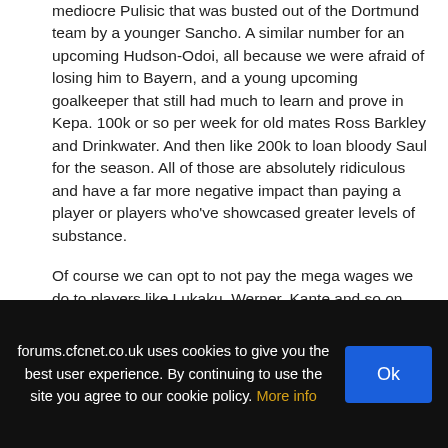mediocre Pulisic that was busted out of the Dortmund team by a younger Sancho. A similar number for an upcoming Hudson-Odoi, all because we were afraid of losing him to Bayern, and a young upcoming goalkeeper that still had much to learn and prove in Kepa. 100k or so per week for old mates Ross Barkley and Drinkwater. And then like 200k to loan bloody Saul for the season. All of those are absolutely ridiculous and have a far more negative impact than paying a player or players who've showcased greater levels of substance.
Of course we can opt to not pay the mega wages we do to players like Lukaku, Werner, Kante and so on, but it means being okay with seeing certain targets going elsewhere because of it. It may also mean targeting a lower rung of players instead and being happy to settle for that.
End of the day the wage structure needs to be amended by changing our transfer policy, along with the way we identify players. All of this will play a substantial role in the sort of deals
forums.cfcnet.co.uk uses cookies to give you the best user experience. By continuing to use the site you agree to our cookie policy. More info